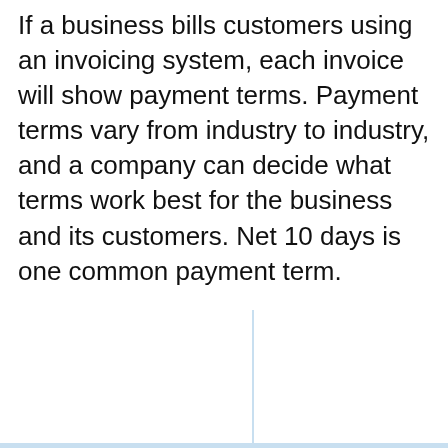If a business bills customers using an invoicing system, each invoice will show payment terms. Payment terms vary from industry to industry, and a company can decide what terms work best for the business and its customers. Net 10 days is one common payment term.